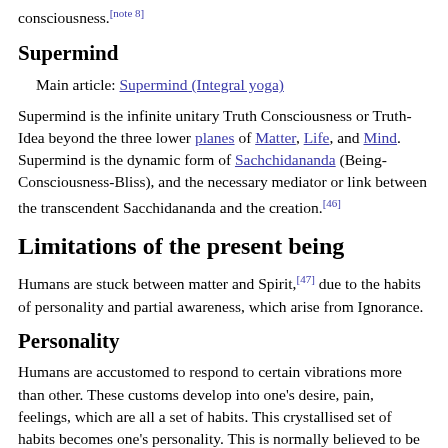consciousness.[note 8]
Supermind
Main article: Supermind (Integral yoga)
Supermind is the infinite unitary Truth Consciousness or Truth-Idea beyond the three lower planes of Matter, Life, and Mind. Supermind is the dynamic form of Sachchidananda (Being-Consciousness-Bliss), and the necessary mediator or link between the transcendent Sacchidananda and the creation.[46]
Limitations of the present being
Humans are stuck between matter and Spirit,[47] due to the habits of personality and partial awareness, which arise from Ignorance.
Personality
Humans are accustomed to respond to certain vibrations more than other. These customs develop into one's desire, pain, feelings, which are all a set of habits. This crystallised set of habits becomes one's personality. This is normally believed to be "self". The